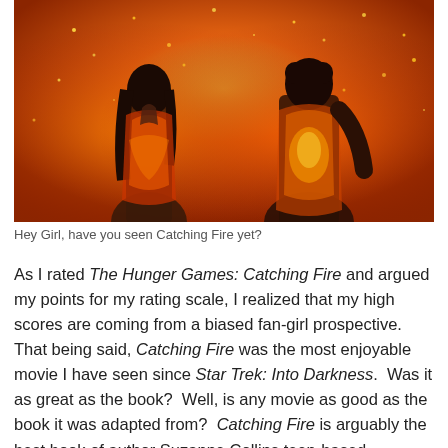[Figure (photo): Two figures in glowing fire/ember costumes (Katniss and Peeta from The Hunger Games: Catching Fire) standing back to back, with orange and gold sparks around them against a warm background.]
Hey Girl, have you seen Catching Fire yet?
As I rated The Hunger Games: Catching Fire and argued my points for my rating scale, I realized that my high scores are coming from a biased fan-girl prospective.  That being said, Catching Fire was the most enjoyable movie I have seen since Star Trek: Into Darkness.  Was it as great as the book?  Well, is any movie as good as the book it was adapted from?  Catching Fire is arguably the best book of author Suzanne Collins teen-based dystopian trilogy.  I had very high expectations going into this film and felt greatly rewarded *gush*